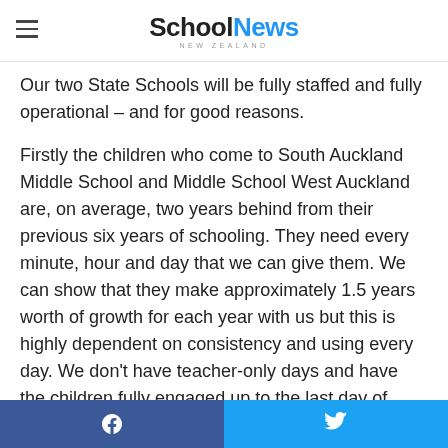SchoolNews NEW ZEALAND
the job and it looks like about 2000 schools will close.
Our two State Schools will be fully staffed and fully operational – and for good reasons.
Firstly the children who come to South Auckland Middle School and Middle School West Auckland are, on average, two years behind from their previous six years of schooling. They need every minute, hour and day that we can give them. We can show that they make approximately 1.5 years worth of growth for each year with us but this is highly dependent on consistency and using every day. We don't have teacher-only days and have the children fully engaged up to the last day of each term.
Secondly, the last thing many of their parents/caregivers need
Facebook | Twitter